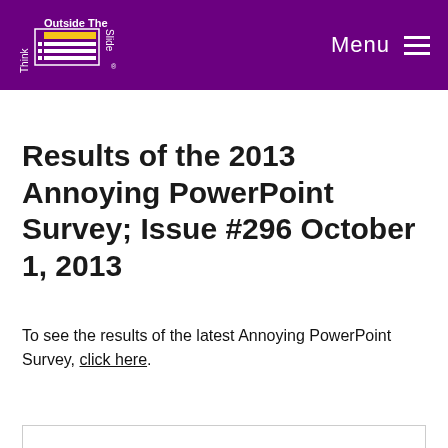Think Outside The Slide | Menu
Results of the 2013 Annoying PowerPoint Survey; Issue #296 October 1, 2013
To see the results of the latest Annoying PowerPoint Survey, click here.